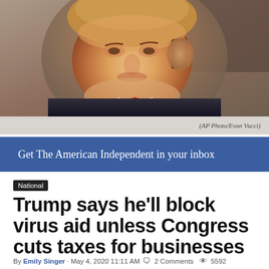[Figure (photo): Close-up photo of Donald Trump holding a phone to his ear, wearing a dark suit and red tie. Photo credit: AP Photo/Evan Vucci]
(AP Photo/Evan Vucci)
Get The American Independent in your inbox
National
Trump says he'll block virus aid unless Congress cuts taxes for businesses
By Emily Singer · May 4, 2020 11:11 AM  2 Comments  5592